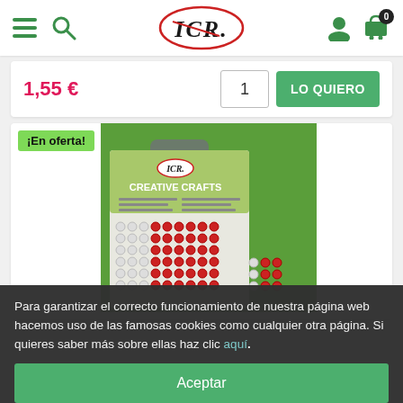[Figure (logo): ICR logo in an oval/ellipse with a red slash through it, green background icons for hamburger menu and search on the left, user and cart icons on the right]
1,55 €
1
LO QUIERO
¡En oferta!
[Figure (photo): A product package of Creative Crafts rhinestone/gem stickers on a green background, showing rows of small decorative gems]
Para garantizar el correcto funcionamiento de nuestra página web hacemos uso de las famosas cookies como cualquier otra página. Si quieres saber más sobre ellas haz clic aquí.
Aceptar